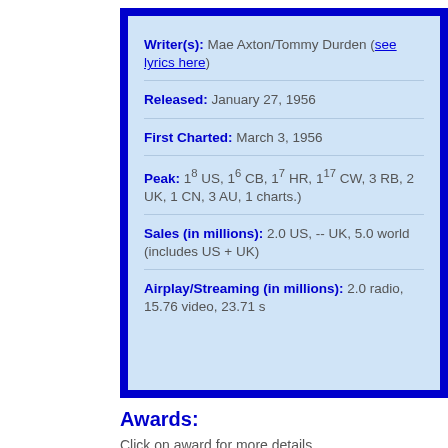Writer(s): Mae Axton/Tommy Durden (see lyrics here)
Released: January 27, 1956
First Charted: March 3, 1956
Peak: 1^8 US, 1^6 CB, 1^7 HR, 1^17 CW, 3 RB, 2 UK, 1 CN, 3 AU, 1 charts.)
Sales (in millions): 2.0 US, -- UK, 5.0 world (includes US + UK)
Airplay/Streaming (in millions): 2.0 radio, 15.76 video, 23.71 s
Awards:
Click on award for more details.